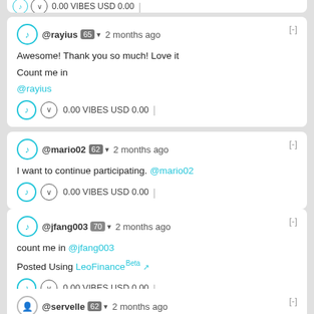0.00 VIBES USD 0.00 | (partial top card footer)
@rayius 65 ▼ 2 months ago
Awesome! Thank you so much! Love it
Count me in
@rayius
0.00 VIBES USD 0.00 |
@mario02 62 ▼ 2 months ago
I want to continue participating. @mario02
0.00 VIBES USD 0.00 |
@jfang003 70 ▼ 2 months ago
count me in @jfang003
Posted Using LeoFinance Beta
0.00 VIBES USD 0.00 |
@servelle 62 ▼ 2 months ago
Congrats to the winner please count me in the next...